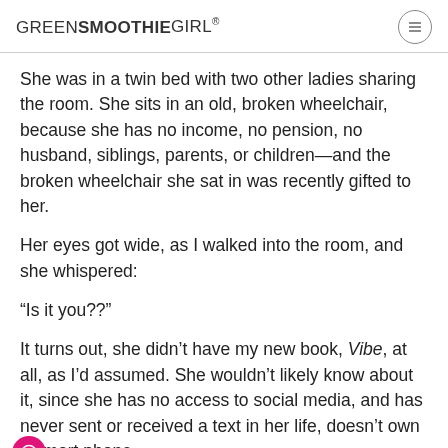GREENSMOOTHIEGIRL®
She was in a twin bed with two other ladies sharing the room. She sits in an old, broken wheelchair, because she has no income, no pension, no husband, siblings, parents, or children—and the broken wheelchair she sat in was recently gifted to her.
Her eyes got wide, as I walked into the room, and she whispered:
“Is it you??”
It turns out, she didn’t have my new book, Vibe, at all, as I’d assumed. She wouldn’t likely know about it, since she has no access to social media, and has never sent or received a text in her life, doesn’t own a smart phone.